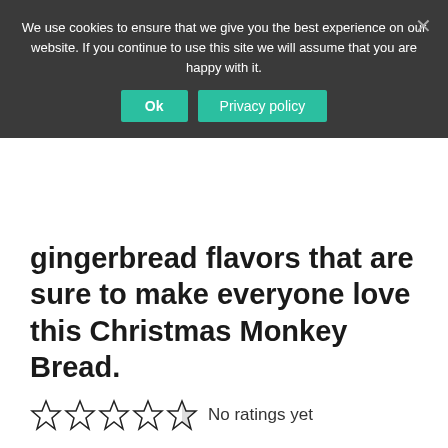We use cookies to ensure that we give you the best experience on our website. If you continue to use this site we will assume that you are happy with it.
Ok
Privacy policy
gingerbread flavors that are sure to make everyone love this Christmas Monkey Bread.
No ratings yet
Print the Recipe
Pin Recipe